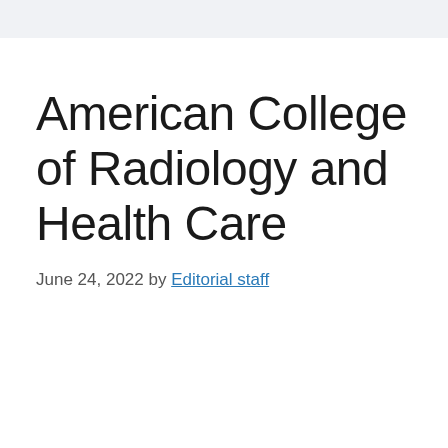American College of Radiology and Health Care
June 24, 2022 by Editorial staff